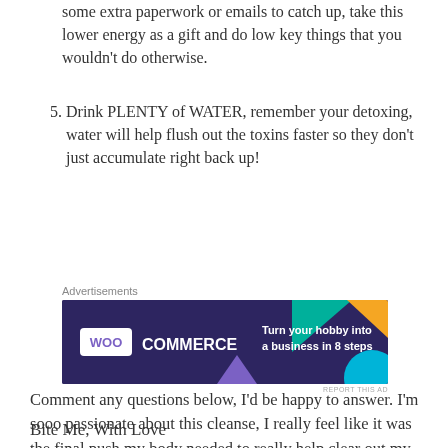some extra paperwork or emails to catch up, take this lower energy as a gift and do low key things that you wouldn't do otherwise.
5. Drink PLENTY of WATER, remember your detoxing, water will help flush out the toxins faster so they don't just accumulate right back up!
[Figure (screenshot): WooCommerce advertisement banner: dark purple background with colorful geometric shapes, text reads 'Turn your hobby into a business in 8 steps']
Comment any questions below, I'd be happy to answer. I'm sooo passionate about this cleanse, I really feel like it was the final push my body needed to really help clear out my candida!
Bite Me, With Love